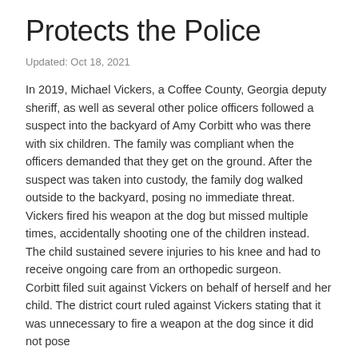Protects the Police
Updated: Oct 18, 2021
In 2019, Michael Vickers, a Coffee County, Georgia deputy sheriff, as well as several other police officers followed a suspect into the backyard of Amy Corbitt who was there with six children. The family was compliant when the officers demanded that they get on the ground. After the suspect was taken into custody, the family dog walked outside to the backyard, posing no immediate threat. Vickers fired his weapon at the dog but missed multiple times, accidentally shooting one of the children instead. The child sustained severe injuries to his knee and had to receive ongoing care from an orthopedic surgeon. Corbitt filed suit against Vickers on behalf of herself and her child. The district court ruled against Vickers stating that it was unnecessary to fire a weapon at the dog since it did not pose